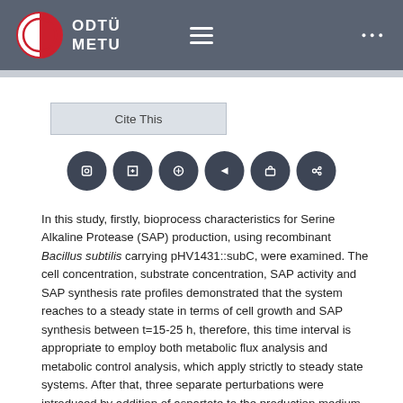ODTÜ METU
[Figure (logo): ODTÜ METU university logo with red and white circular emblem and white text]
Cite This
[Figure (infographic): Six dark circular social sharing/action icon buttons arranged in a row]
In this study, firstly, bioprocess characteristics for Serine Alkaline Protease (SAP) production, using recombinant Bacillus subtilis carrying pHV1431::subC, were examined. The cell concentration, substrate concentration, SAP activity and SAP synthesis rate profiles demonstrated that the system reaches to a steady state in terms of cell growth and SAP synthesis between t=15-25 h, therefore, this time interval is appropriate to employ both metabolic flux analysis and metabolic control analysis, which apply strictly to steady state systems. After that, three separate perturbations were introduced by addition of aspartate to the production medium at a certain time of the